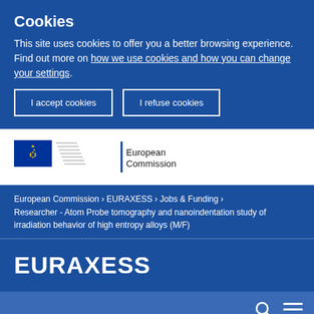Cookies
This site uses cookies to offer you a better browsing experience. Find out more on how we use cookies and how you can change your settings.
I accept cookies | I refuse cookies
[Figure (logo): European Commission logo with EU flag (blue square with yellow stars) and stylized building lines, text reading European Commission with vertical blue bar]
European Commission › EURAXESS › Jobs & Funding › Researcher - Atom Probe tomography and nanoindentation study of irradiation behavior of high entropy alloys (M/F)
EURAXESS
[Figure (other): Search icon (magnifying glass) and hamburger menu icon (three horizontal lines) on dark blue background]